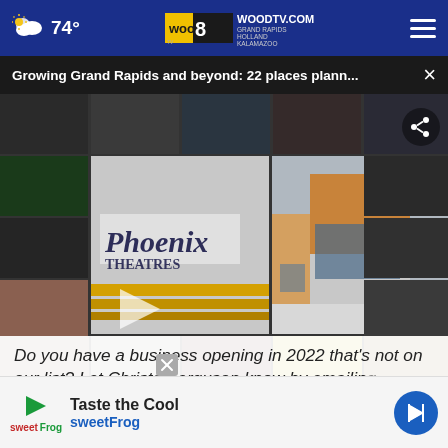74° WOODTV.COM GRAND RAPIDS HOLLAND KALAMAZOO
Growing Grand Rapids and beyond: 22 places plann...
[Figure (photo): Photo grid collage of various businesses and storefronts in Grand Rapids area, including Phoenix Theatres signage and a modern commercial building exterior in winter]
Do you have a business opening in 2022 that's not on our list? Let Christa Ferguson know by emailing christa...
[Figure (infographic): Advertisement banner for sweetFrog frozen yogurt: Taste the Cool sweetFrog with logo and navigation arrow]